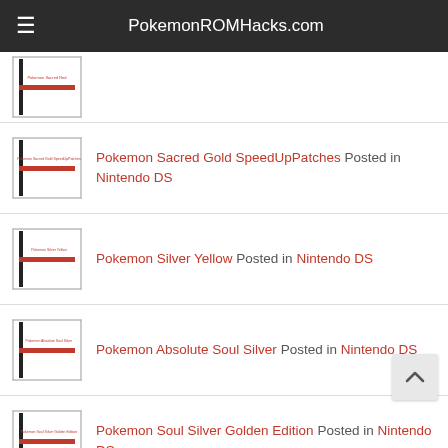PokemonROMHacks.com
Pokemon Sacred Gold SpeedUpPatches Posted in Nintendo DS
Pokemon Silver Yellow Posted in Nintendo DS
Pokemon Absolute Soul Silver Posted in Nintendo DS
Pokemon Soul Silver Golden Edition Posted in Nintendo DS
Pokemon Perfect Soul Posted in Nintendo DS